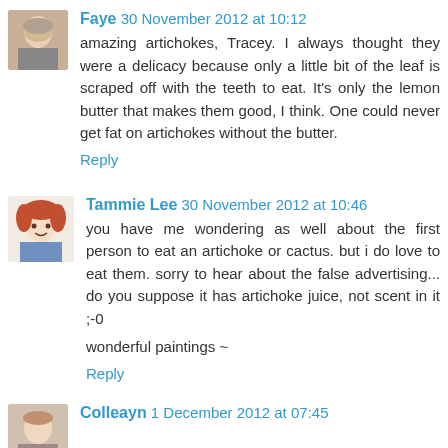[Figure (photo): Avatar photo of Faye, an older woman]
Faye 30 November 2012 at 10:12
amazing artichokes, Tracey. I always thought they were a delicacy because only a little bit of the leaf is scraped off with the teeth to eat. It's only the lemon butter that makes them good, I think. One could never get fat on artichokes without the butter.
Reply
[Figure (illustration): Avatar illustration of Tammie Lee, a cartoon woman with red hair]
Tammie Lee 30 November 2012 at 10:46
you have me wondering as well about the first person to eat an artichoke or cactus. but i do love to eat them. sorry to hear about the false advertising... do you suppose it has artichoke juice, not scent in it ;-0
wonderful paintings ~
Reply
[Figure (photo): Avatar photo of Colleayn]
Colleayn 1 December 2012 at 07:45